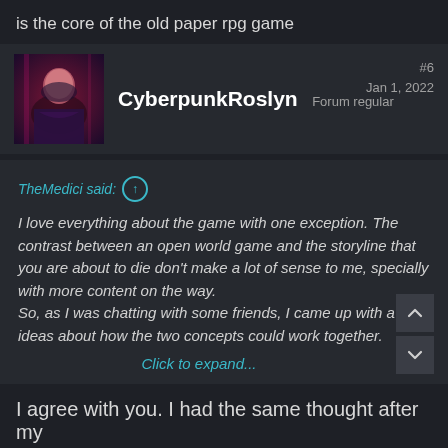is the core of the old paper rpg game
CyberpunkRoslyn   Forum regular   #6   Jan 1, 2022
TheMedici said: ↑
I love everything about the game with one exception. The contrast between an open world game and the storyline that you are about to die don't make a lot of sense to me, specially with more content on the way.
So, as I was chatting with some friends, I came up with a few ideas about how the two concepts could work together.
Click to expand...
I agree with you. I had the same thought after my